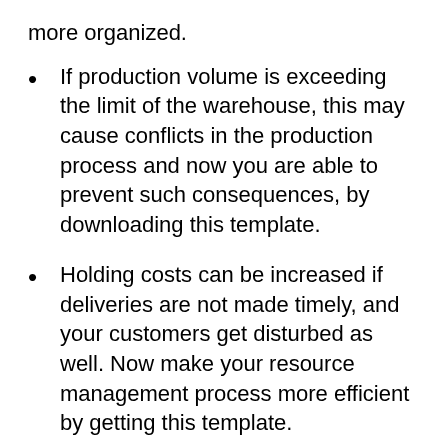more organized.
If production volume is exceeding the limit of the warehouse, this may cause conflicts in the production process and now you are able to prevent such consequences, by downloading this template.
Holding costs can be increased if deliveries are not made timely, and your customers get disturbed as well. Now make your resource management process more efficient by getting this template.
Records of deliveries and invoices are